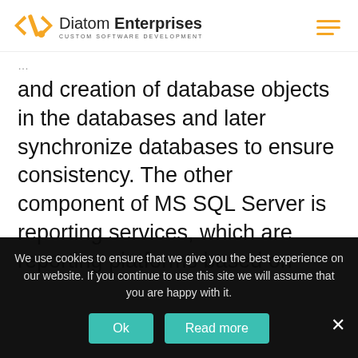Diatom Enterprises — CUSTOM SOFTWARE DEVELOPMENT
and creation of database objects in the databases and later synchronize databases to ensure consistency. The other component of MS SQL Server is reporting services, which are reporting platforms based on server and provides detailed data reporting from either multidimensional or relational data. Notification services are the other component that ensures
We use cookies to ensure that we give you the best experience on our website. If you continue to use this site we will assume that you are happy with it.
Ok   Read more